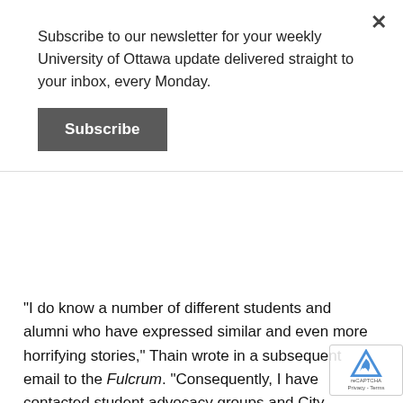Subscribe to our newsletter for your weekly University of Ottawa update delivered straight to your inbox, every Monday.
Subscribe
"I do know a number of different students and alumni who have expressed similar and even more horrifying stories," Thain wrote in a subsequent email to the Fulcrum. "Consequently, I have contacted student advocacy groups and City officials, including the mayor, and I hope that I can continue the conversation with them."
According to Clark, "one of the important messages is that the U of O is committed to establishing and maintaining a safe environment in all housing buildings." She then explained that a contractor entered Thain's unit on March 6 to assess the situation, and that the mould was removed on March 7...